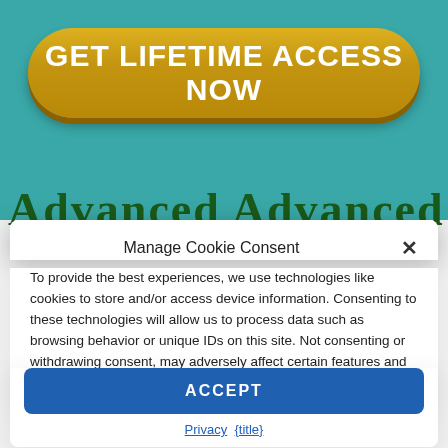[Figure (screenshot): Teal/green background with golden yellow CTA button]
GET LIFETIME ACCESS NOW
Advanced Advanced (partially visible heading)
Manage Cookie Consent
To provide the best experiences, we use technologies like cookies to store and/or access device information. Consenting to these technologies will allow us to process data such as browsing behavior or unique IDs on this site. Not consenting or withdrawing consent, may adversely affect certain features and functions.
ACCEPT
Privacy  {title}